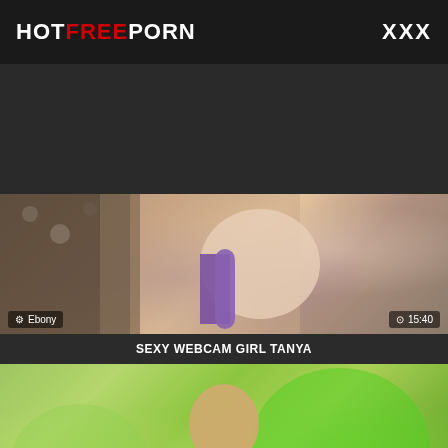HOTFREEPORN    XXX
[Figure (photo): Dark ad banner area]
[Figure (photo): Video thumbnail showing close-up with leopard print fabric and purple object, tagged Ebony, duration 15:40]
SEXY WEBCAM GIRL TANYA
[Figure (photo): Video thumbnail showing blonde woman outdoors with colorful green and yellow smoke clouds]